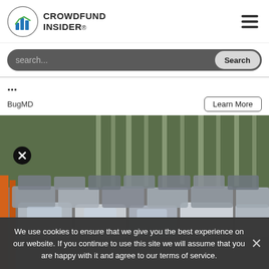CROWDFUND INSIDER
search...
BugMD
Learn More
[Figure (photo): Rows of new vehicles parked in a large outdoor vehicle lot, with orange safety fencing on the left side and tall trees in the background. A circular close/X button is visible on the upper-left area of the image.]
We use cookies to ensure that we give you the best experience on our website. If you continue to use this site we will assume that you are happy with it and agree to our terms of service.